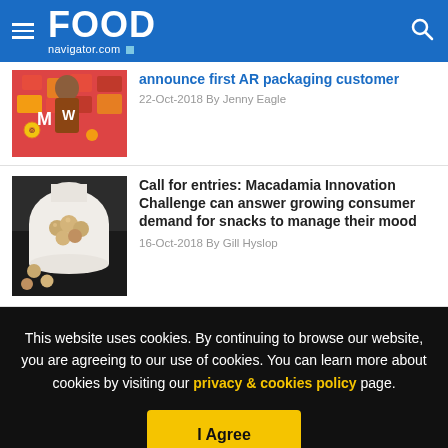FOOD navigator.com
[Figure (photo): Child standing in front of colorful M&M's candy display]
...Constantine, Frankees & Winward announce first AR packaging customer
22-Oct-2018 By Jenny Eagle
[Figure (photo): Macadamia nuts in a white cloth bag on dark background]
Call for entries: Macadamia Innovation Challenge can answer growing consumer demand for snacks to manage their mood
16-Oct-2018 By Gill Hyslop
This website uses cookies. By continuing to browse our website, you are agreeing to our use of cookies. You can learn more about cookies by visiting our privacy & cookies policy page.